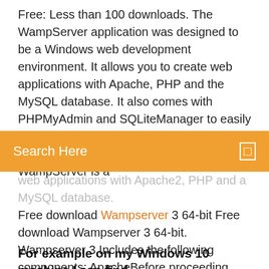Free: Less than 100 downloads. The WampServer application was designed to be a Windows web development environment. It allows you to create web applications with Apache, PHP and the MySQL database. It also comes with PHPMyAdmin and SQLiteManager to easily manage your databases. Download WampServer (32bit) 3.0.6 for windows -... WampServer is a
[Figure (screenshot): Orange search bar with 'Search Here' placeholder text and a search icon on the right]
web applications with Apache2, PHP and a MySQL database. Free download Wampserver 3 64-bit Free download Wampserver 3 64-bit. Wampserver 3 Includes the following components: ApacheBefore proceeding with the Wampserver 3 installation on 64-bit Windows systemsMake sure that you have 64-bit Microsoft C ++ redistributable VC9, VC10, VC11, VC13, and VC14 packages installed. How to install and run wampserver 32 bit on HP laptop with...
For example on my Windows 10 machine I can find